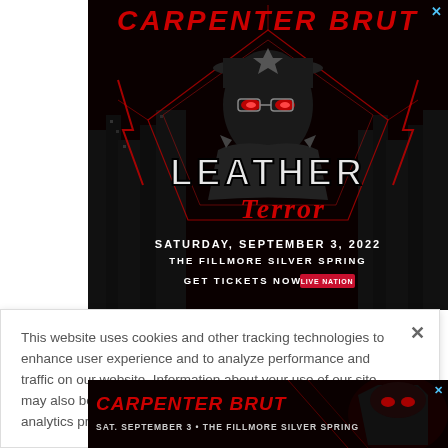[Figure (illustration): Carpenter Brut 'Leather Terror' concert advertisement banner. Dark background with neon red geometric lines, a mysterious figure in a police hat with glowing eyes, city skyline silhouettes, red lightning. Text: CARPENTER BRUT / LEATHER Terror / SATURDAY, SEPTEMBER 3, 2022 / THE FILLMORE SILVER SPRING / GET TICKETS NOW [Live Nation]]
This website uses cookies and other tracking technologies to enhance user experience and to analyze performance and traffic on our website. Information about your use of our site may also be shared with social media, advertising, retail and analytics providers and partners. Privacy Policy
[Figure (illustration): Carpenter Brut bottom banner ad. SAT. SEPTEMBER 3 • THE FILLMORE SILVER SPRING. Dark background with red styled figure.]